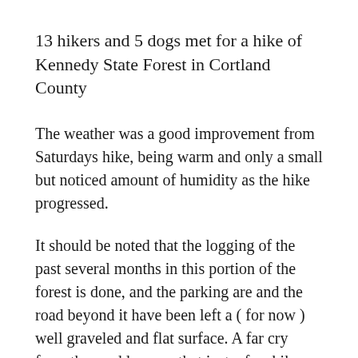13 hikers and 5 dogs met for a hike of Kennedy State Forest in Cortland County
The weather was a good improvement from Saturdays hike, being warm and only a small but noticed amount of humidity as the hike progressed.
It should be noted that the logging of the past several months in this portion of the forest is done, and the parking are and the road beyond it have been left a ( for now ) well graveled and flat surface. A far cry from the muddy mess that just a few hikes ago at this location left a hikers car buried to the axle in mud.